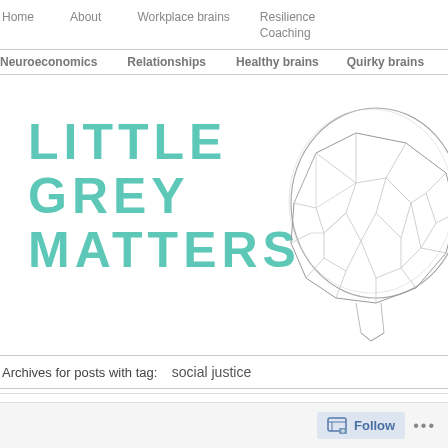Home   About   Workplace brains   Resilience Coaching
Neuroeconomics   Relationships   Healthy brains   Quirky brains
[Figure (logo): Little Grey Matters site logo with teal bold uppercase text and a wireframe brain illustration on the right]
Archives for posts with tag:   social justice
Follow   ...